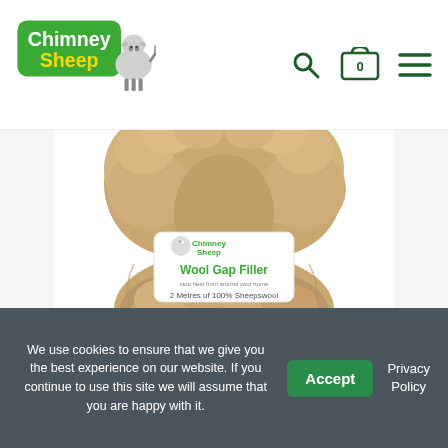Chimney Sheep - navigation header with logo, search, cart (0), and menu icons
[Figure (photo): Chimney Sheep Wool Gap Filler product — a bundle of natural brown/tan raw sheepswool with a white paper label reading 'Chimney Sheep Wool Gap Filler — 2 Metres of 100% Sheepswool']
We use cookies to ensure that we give you the best experience on our website. If you continue to use this site we will assume that you are happy with it.
Accept
Privacy Policy